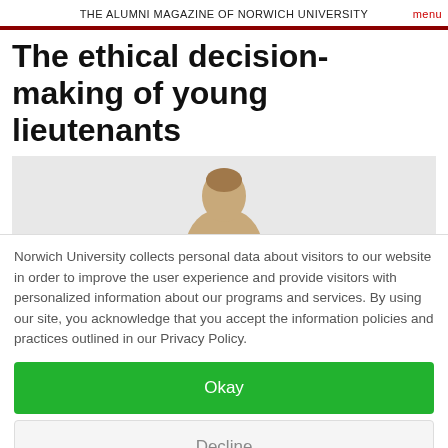THE ALUMNI MAGAZINE OF NORWICH UNIVERSITY
The ethical decision-making of young lieutenants
[Figure (photo): Partial photo of a person's head against a light gray background, cropped at the top]
Norwich University collects personal data about visitors to our website in order to improve the user experience and provide visitors with personalized information about our programs and services. By using our site, you acknowledge that you accept the information policies and practices outlined in our Privacy Policy.
Okay
Decline
Privacy Policy